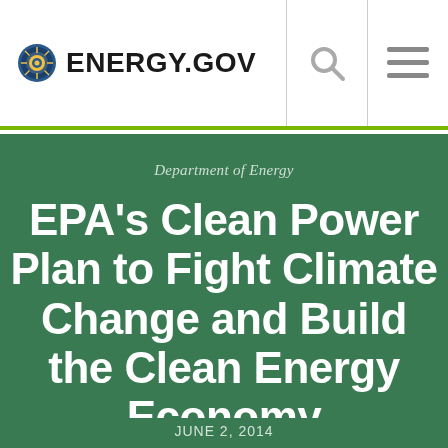ENERGY.GOV
Department of Energy
EPA's Clean Power Plan to Fight Climate Change and Build the Clean Energy Economy
JUNE 2, 2014